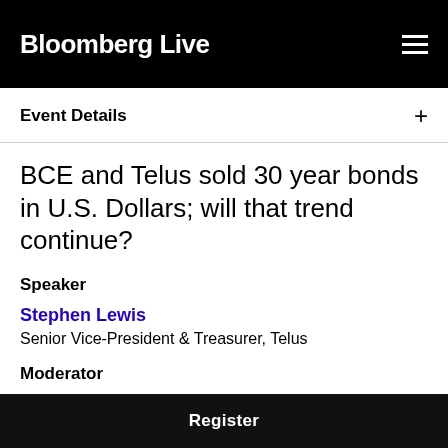Bloomberg Live
Event Details
BCE and Telus sold 30 year bonds in U.S. Dollars; will that trend continue?
Speaker
Stephen Lewis
Senior Vice-President & Treasurer, Telus
Moderator
Danielle Bochove
Commodities Reporter, Bloomberg News
Register